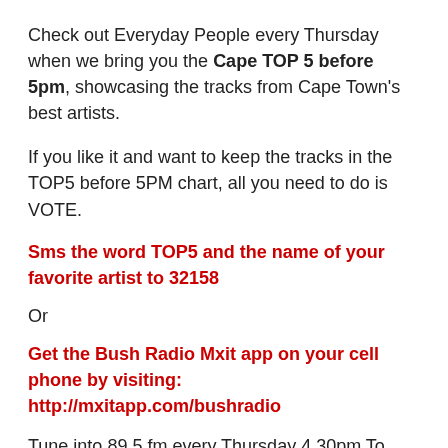Check out Everyday People every Thursday when we bring you the Cape TOP 5 before 5pm, showcasing the tracks from Cape Town's best artists.
If you like it and want to keep the tracks in the TOP5 before 5PM chart, all you need to do is VOTE.
Sms the word TOP5 and the name of your favorite artist to 32158
Or
Get the Bush Radio Mxit app on your cell phone by visiting: http://mxitapp.com/bushradio
Tune into 89.5 fm every Thursday 4.30pm To 5pm to hear the full tracks or visit the CAPE TOWN TOP5 Page